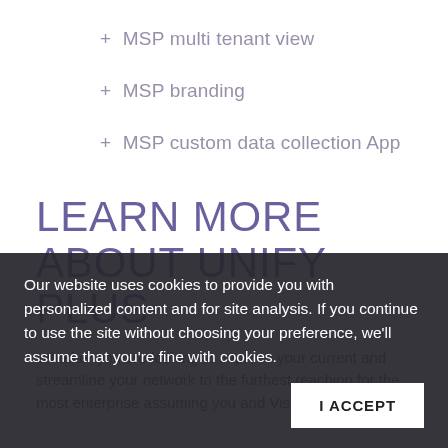+ MSP multi tenant view
+ MSP branding
+ MSP custom data collection App
LEARN MORE ABOUT UNIFY PLUS
Whether you are looking to improve your current and streamline your network to the furthest reaching for the most enterprise assuming you and VisionPoint can help.
Our website uses cookies to provide you with personalized content and for site analysis. If you continue to use the site without choosing your preference, we'll assume that you're fine with cookies.